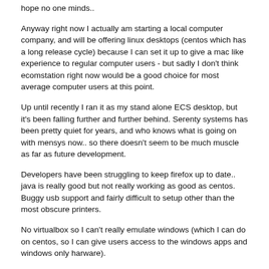hope no one minds..
Anyway right now I actually am starting a local computer company, and will be offering linux desktops (centos which has a long release cycle) because I can set it up to give a mac like experience to regular computer users - but sadly I don't think ecomstation right now would be a good choice for most average computer users at this point.
Up until recently I ran it as my stand alone ECS desktop, but it's been falling further and further behind. Serenty systems has been pretty quiet for years, and who knows what is going on with mensys now.. so there doesn't seem to be much muscle as far as future development.
Developers have been struggling to keep firefox up to date.. java is really good but not really working as good as centos. Buggy usb support and fairly difficult to setup other than the most obscure printers.
No virtualbox so I can't really emulate windows (which I can do on centos, so I can give users access to the windows apps and windows only harware).
To me that virtualbox is the biggest issue, since if we had a virtualbox with usb support working on ecomstation, then I could offer a system that allows users to still access compatible windows hardware while still running ECS as their main os.